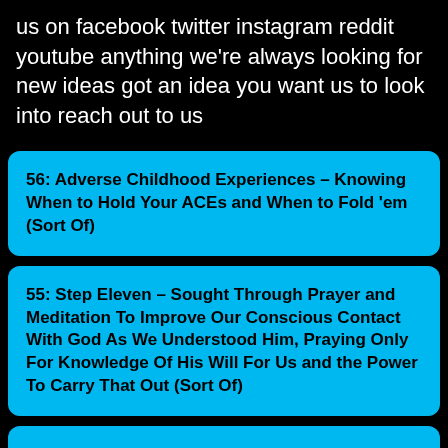us on facebook twitter instagram reddit youtube anything we're always looking for new ideas got an idea you want us to look into reach out to us
56: Adverse Childhood Experiences – Knowing When to Hold Your ACEs and When to Fold 'em (Sort Of)
55: Step Eleven – Sought Through Prayer and Meditation To Improve Our Conscious Contact With God As We Understood Him, Praying Only For Knowledge Of His Will For Us and the Power To Carry That Out (Sort Of)
53: What Is Relapse and What Can We Do About It? (Sort Of)